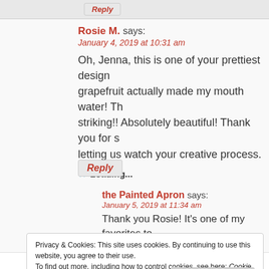[Figure (screenshot): Top partial reply button bar]
Rosie M. says:
January 4, 2019 at 10:31 am
Oh, Jenna, this is one of your prettiest designs — grapefruit actually made my mouth water! The striking!! Absolutely beautiful! Thank you for sharing and letting us watch your creative process.
Loading...
Reply
the Painted Apron says:
January 5, 2019 at 11:34 am
Thank you Rosie! It's one of my favorites too... d
Privacy & Cookies: This site uses cookies. By continuing to use this website, you agree to their use.
To find out more, including how to control cookies, see here: Cookie Policy
Close and accept
I love the texture on the grapefruit. Jenna A